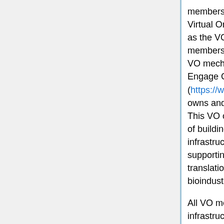members of the 'vo.elixir-europe.org' Virtual Organisation, hereafter referred to as the VO, and the resources that members are able to access through the VO mechanism. Members of the EGI-Engage Competence Centre (https://wiki.egi.eu/wiki/CC-ELIXIR) owns and gives authority to this policy. This VO contributes to the ELIXIR effort of building a sustainable European infrastructure for biological information, supporting life science research and its translation to medicine, agriculture, bioindustries and society.
All VO members (users, managers, infrastructure providers) agree to be bound by this Acceptable Use Policy and to use the resources within the VO only in the furtherance of the stated goal of the VO. By registering in the VO as a